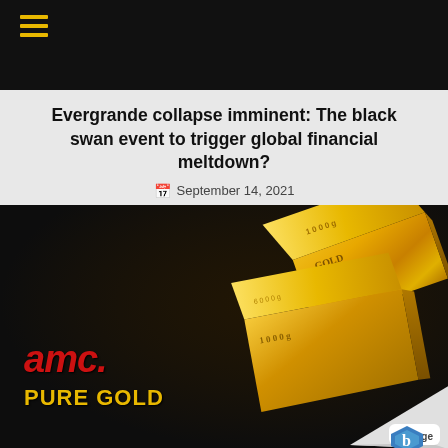≡ (hamburger menu navigation bar)
Evergrande collapse imminent: The black swan event to trigger global financial meltdown?
September 14, 2021
[Figure (photo): AMC Pure Gold promotional image showing gold bars with text 'amc. PURE GOLD' on dark background, with Manage badge in bottom right corner]